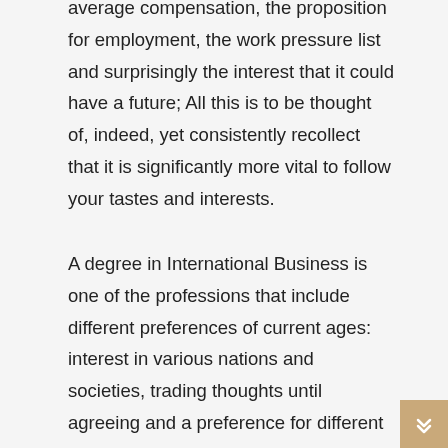to consider: an be drawn from your character, the average compensation, the proposition for employment, the work pressure list and surprisingly the interest that it could have a future; All this is to be thought of, indeed, yet consistently recollect that it is significantly more vital to follow your tastes and interests.
A degree in International Business is one of the professions that include different preferences of current ages: interest in various nations and societies, trading thoughts until agreeing and a preference for different dialects, which makes it a feasible choice that likewise, they have an extremely hopeful future.